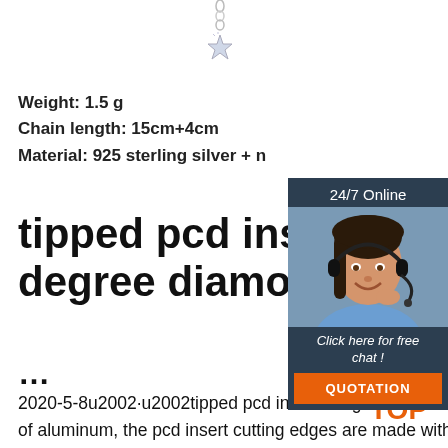[Figure (photo): Jewelry charm or pendant in silver, star-shaped, hanging from a chain, partially visible at top of page]
Weight: 1.5 g
Chain length: 15cm+4cm
Material: 925 sterling silver + [cut off]
tipped pcd inserts in 80 degree diamond shape [cut off]
...
2020-5-8u2002·u2002tipped pcd inserts [in 80] degree diamond shape C for hard turning non-ferrous metals of aluminum, the pcd insert cutting edges are made with polycrystalline diamond, indexable inserts with pcd working tips are precision cutting tools, which are used in cnc super fine finish
[Figure (photo): 24/7 Online chat widget showing a woman wearing a headset smiling, with dark background, text 'Click here for free chat!' and an orange QUOTATION button]
[Figure (logo): TOP logo in orange with small dots above, bottom right corner]